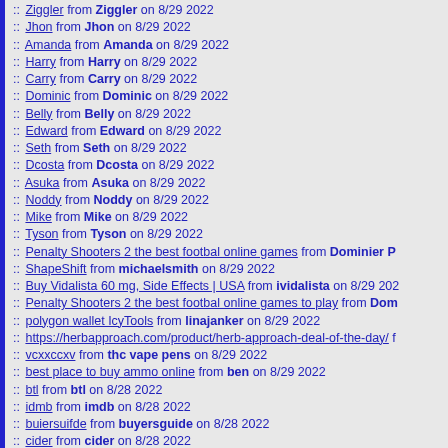:: Ziggler from Ziggler on 8/29 2022
:: Jhon from Jhon on 8/29 2022
:: Amanda from Amanda on 8/29 2022
:: Harry from Harry on 8/29 2022
:: Carry from Carry on 8/29 2022
:: Dominic from Dominic on 8/29 2022
:: Belly from Belly on 8/29 2022
:: Edward from Edward on 8/29 2022
:: Seth from Seth on 8/29 2022
:: Dcosta from Dcosta on 8/29 2022
:: Asuka from Asuka on 8/29 2022
:: Noddy from Noddy on 8/29 2022
:: Mike from Mike on 8/29 2022
:: Tyson from Tyson on 8/29 2022
:: Penalty Shooters 2 the best footbal online games from Dominier P...
:: ShapeShift from michaelsmith on 8/29 2022
:: Buy Vidalista 60 mg, Side Effects | USA from ividalista on 8/29 202...
:: Penalty Shooters 2 the best footbal online games to play from Dom...
:: polygon wallet IcyTools from linajanker on 8/29 2022
:: https://herbapproach.com/product/herb-approach-deal-of-the-day/ f...
:: vcxxccxv from thc vape pens on 8/29 2022
:: best place to buy ammo online from ben on 8/29 2022
:: btl from btl on 8/28 2022
:: idmb from imdb on 8/28 2022
:: buiersuifde from buyersguide on 8/28 2022
:: cider from cider on 8/28 2022
:: fuhrerschein kaufen from spence on 8/28 2022
:: fuhrerschein kaufen from brianna on 8/28 2022
:: Bionicgym Coupon Code from sneekcoupon on 8/28 2022
:: Pumpables Coupon Code from sneekcoupon on 8/28 2022
:: Pumpables Coupon Code from sneekcoupon on 8/28 2022